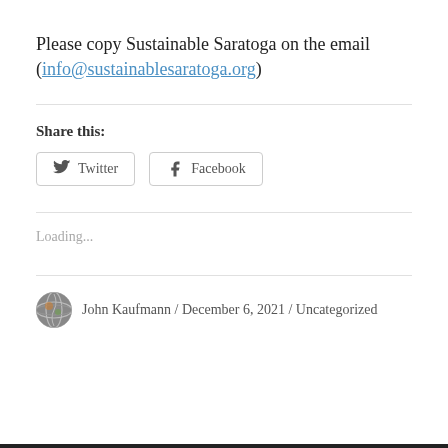Please copy Sustainable Saratoga on the email (info@sustainablesaratoga.org)
Share this:
Twitter  Facebook
Loading...
John Kaufmann / December 6, 2021 / Uncategorized